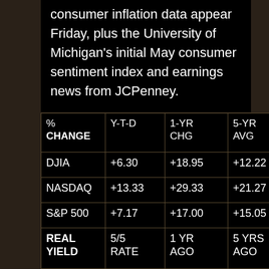consumer inflation data appear Friday, plus the University of Michigan's initial May consumer sentiment index and earnings news from JCPenney.
| % CHANGE | Y-T-D | 1-YR CHG | 5-YR AVG | 10-YR AVG |
| --- | --- | --- | --- | --- |
| DJIA | +6.30 | +18.95 | +12.22 | +5.8 |
| NASDAQ | +13.33 | +29.33 | +21.27 | +13 |
| S&P 500 | +7.17 | +17.00 | +15.05 | +5.9 |
| REAL YIELD | 5/5 RATE | 1 YR AGO | 5 YRS AGO | 10 YRS AGO |